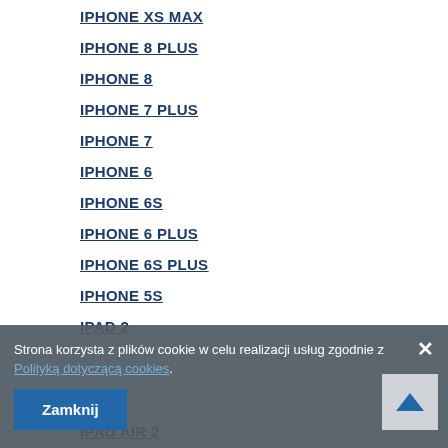IPHONE XS MAX
IPHONE 8 PLUS
IPHONE 8
IPHONE 7 PLUS
IPHONE 7
IPHONE 6
IPHONE 6S
IPHONE 6 PLUS
IPHONE 6S PLUS
IPHONE 5S
IPAD 2
IPAD AIR 2
Strona korzysta z plików cookie w celu realizacji usług zgodnie z Polityką dotyczącą cookies.
Zamknij